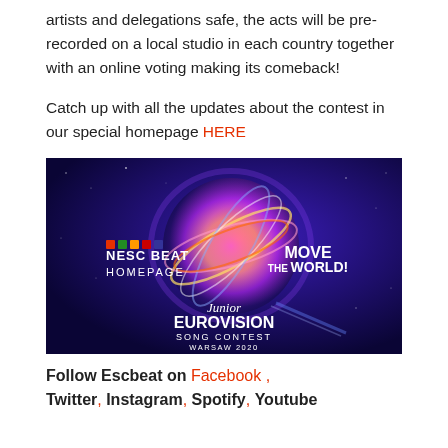artists and delegations safe, the acts will be pre-recorded on a local studio in each country together with an online voting making its comeback!
Catch up with all the updates about the contest in our special homepage HERE
[Figure (photo): Junior Eurovision Song Contest Warsaw 2020 promotional banner with 'MOVE THE WORLD!' tagline and NESC BEAT HOMEPAGE branding on dark blue background with glowing sphere.]
Follow Escbeat on Facebook , Twitter, Instagram, Spotify, Youtube